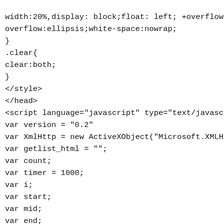width:20%,display: block;float: left; +overflow:hidu
overflow:ellipsis;white-space:nowrap;
}
.clear{
clear:both;
}
</style>
</head>
<script language="javascript" type="text/javascript'
var version = "0.2"
var XmlHttp = new ActiveXObject("Microsoft.XMLHTTP");
var getlist_html = "";
var count;
var timer = 1000;
var i;
var start;
var mid;
var end;
var isArtclg;